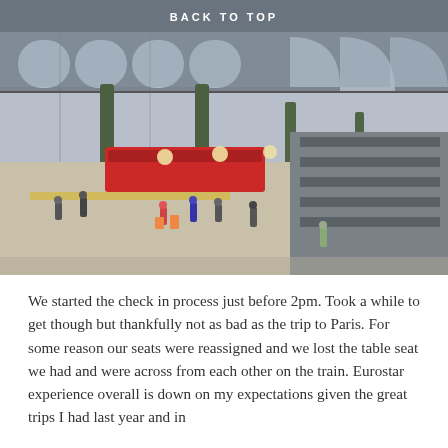BACK TO TOP
[Figure (photo): Interior of a large train station (Gare du Nord, Paris) with ornate iron columns, arched windows, platforms, trains, and people walking through the concourse.]
We started the check in process just before 2pm. Took a while to get though but thankfully not as bad as the trip to Paris. For some reason our seats were reassigned and we lost the table seat we had and were across from each other on the train. Eurostar experience overall is down on my expectations given the great trips I had last year and in